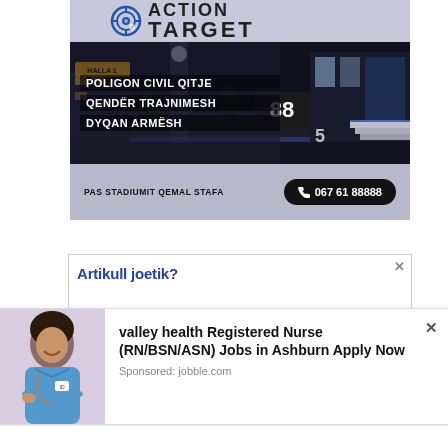[Figure (illustration): Action Target advertisement banner. Top portion shows the Action Target logo with a target crosshair icon. Middle section shows a nighttime photo of a shooting range facility building with text overlay: POLIGON CIVIL QITJE, QENDËR TRAJNIMESH, DYQAN ARMËSH. Bottom bar shows location text 'PAS STADIUMIT QEMAL STAFA' and phone number '067 61 88888'.]
[Figure (illustration): Partial view of a second advertisement banner with blue text reading 'Artikull joetik?' and a small close (x) button.]
[Figure (illustration): Popup overlay advertisement. Left side shows a photo of a smiling nurse/healthcare worker in blue scrubs. Right side shows text: 'valley health Registered Nurse (RN/BSN/ASN) Jobs in Ashburn Apply Now' with 'Sponsored: jobble.com' below. An X close button is visible top-right.]